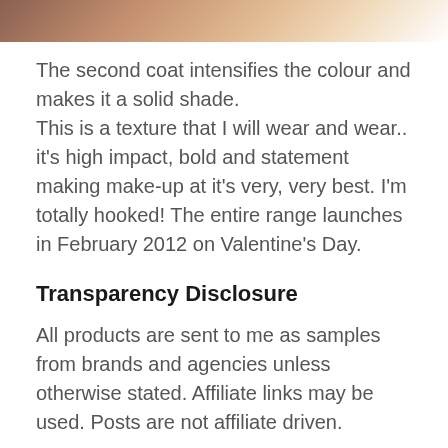[Figure (photo): Partial view of a product image, cropped at the top of the page, showing warm brown/tan tones.]
The second coat intensifies the colour and makes it a solid shade.
This is a texture that I will wear and wear.. it's high impact, bold and statement making make-up at it's very, very best. I'm totally hooked! The entire range launches in February 2012 on Valentine's Day.
Transparency Disclosure
All products are sent to me as samples from brands and agencies unless otherwise stated. Affiliate links may be used. Posts are not affiliate driven.